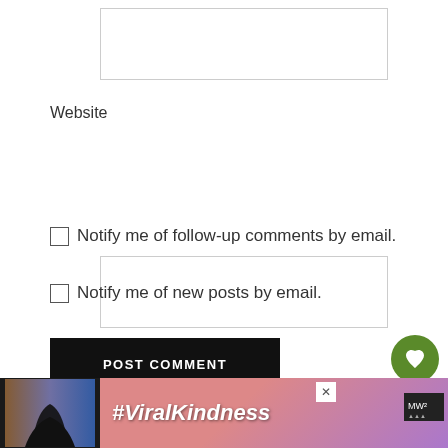[Figure (other): Empty text input box at top of page]
Website
[Figure (other): Website text input box]
Notify me of follow-up comments by email.
Notify me of new posts by email.
POST COMMENT
[Figure (other): Green circular heart/like button with count 31 and share button]
AWARDS
[Figure (other): Advertisement banner showing #ViralKindness with heart hands silhouette]